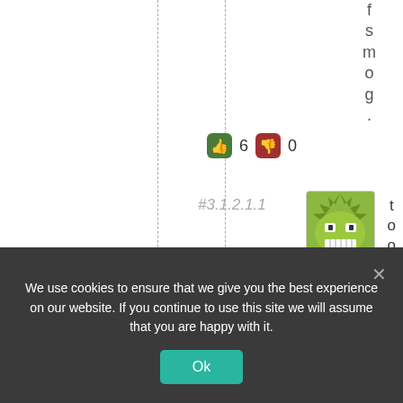f s m o g .
[Figure (other): Vote buttons: thumbs up (green) showing 6, thumbs down (red) showing 0]
#3.1.2.1.1
[Figure (illustration): Green cartoon monster face avatar with spiky hair and big teeth]
t o o
r i g h
We use cookies to ensure that we give you the best experience on our website. If you continue to use this site we will assume that you are happy with it.